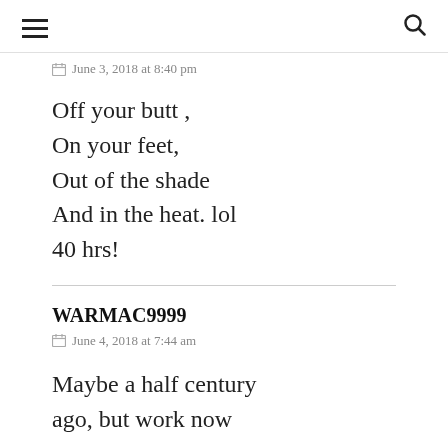≡  🔍
June 3, 2018 at 8:40 pm
Off your butt ,
On your feet,
Out of the shade
And in the heat. lol
40 hrs!
WARMAC9999
June 4, 2018 at 7:44 am
Maybe a half century ago, but work now